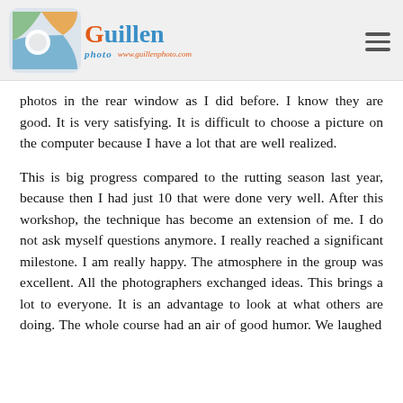Guillen photo www.guillenphoto.com
photos in the rear window as I did before. I know they are good. It is very satisfying. It is difficult to choose a picture on the computer because I have a lot that are well realized.
This is big progress compared to the rutting season last year, because then I had just 10 that were done very well. After this workshop, the technique has become an extension of me. I do not ask myself questions anymore. I really reached a significant milestone. I am really happy. The atmosphere in the group was excellent. All the photographers exchanged ideas. This brings a lot to everyone. It is an advantage to look at what others are doing. The whole course had an air of good humor. We laughed